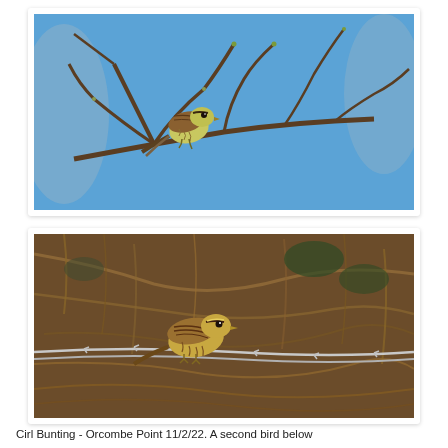[Figure (photo): A small bird (Cirl Bunting) perched on a bare branch with tiny buds, against a bright blue sky background. The bird has yellowish-green underparts with brownish streaked upperparts.]
[Figure (photo): A small bird (Cirl Bunting) perched on a barbed wire fence in front of a dense tangle of dry brown shrub branches. The bird has streaked brown and yellowish plumage.]
Cirl Bunting - Orcombe Point 11/2/22. A second bird below